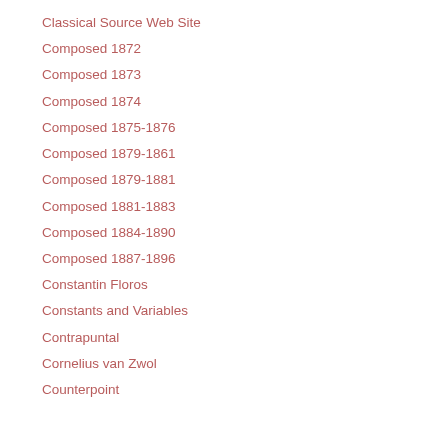Classical Source Web Site
Composed 1872
Composed 1873
Composed 1874
Composed 1875-1876
Composed 1879-1861
Composed 1879-1881
Composed 1881-1883
Composed 1884-1890
Composed 1887-1896
Constantin Floros
Constants and Variables
Contrapuntal
Cornelius van Zwol
Counterpoint